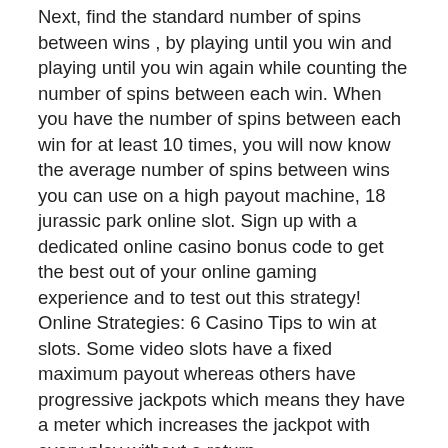Next, find the standard number of spins between wins , by playing until you win and playing until you win again while counting the number of spins between each win. When you have the number of spins between each win for at least 10 times, you will now know the average number of spins between wins you can use on a high payout machine, 18 jurassic park online slot. Sign up with a dedicated online casino bonus code to get the best out of your online gaming experience and to test out this strategy! Online Strategies: 6 Casino Tips to win at slots. Some video slots have a fixed maximum payout whereas others have progressive jackpots which means they have a meter which increases the jackpot with every play without a return.
LOUIS Mountaineer Casino, Racetrack & Resort in New Cumberland, West Virginia, is being sold as part a deal that also includes two, 18 jurassic park online slot.